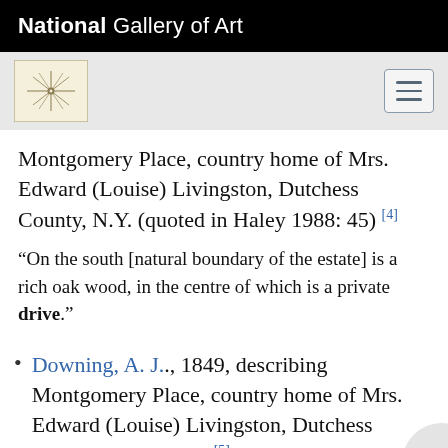National Gallery of Art
Montgomery Place, country home of Mrs. Edward (Louise) Livingston, Dutchess County, N.Y. (quoted in Haley 1988: 45) [4]
“On the south [natural boundary of the estate] is a rich oak wood, in the centre of which is a private drive.”
Downing, A. J., 1849, describing Montgomery Place, country home of Mrs. Edward (Louise) Livingston, Dutchess County, N.Y. (p. 49) [5]